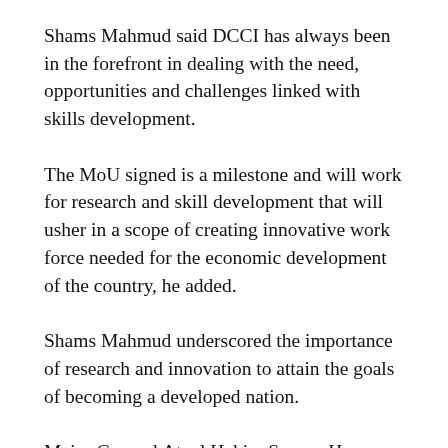Shams Mahmud said DCCI has always been in the forefront in dealing with the need, opportunities and challenges linked with skills development.
The MoU signed is a milestone and will work for research and skill development that will usher in a scope of creating innovative work force needed for the economic development of the country, he added.
Shams Mahmud underscored the importance of research and innovation to attain the goals of becoming a developed nation.
Major General Ataul Hakim Sarwar Hasan urged DCCI to put forward the criteria and need of skills that are actually necessary for the industry as